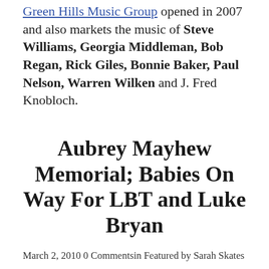Green Hills Music Group opened in 2007 and also markets the music of Steve Williams, Georgia Middleman, Bob Regan, Rick Giles, Bonnie Baker, Paul Nelson, Warren Wilken and J. Fred Knobloch.
Aubrey Mayhew Memorial; Babies On Way For LBT and Luke Bryan
March 2, 2010 0 Commentsin Featured by Sarah Skates